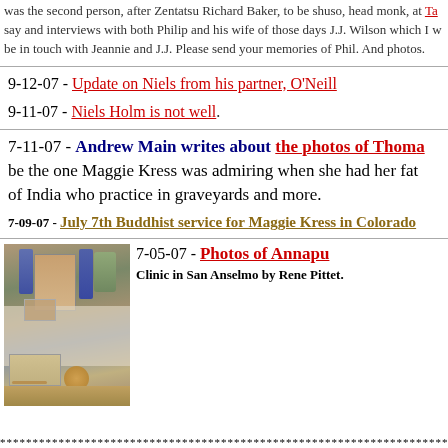was the second person, after Zentatsu Richard Baker, to be shuso, head monk, at Ta... say and interviews with both Philip and his wife of those days J.J. Wilson which I w... be in touch with Jeannie and J.J. Please send your memories of Phil. And photos.
9-12-07 - Update on Niels from his partner, O'Neill
9-11-07 - Niels Holm is not well.
7-11-07 - Andrew Main writes about the photos of Thoma... be the one Maggie Kress was admiring when she had her fat... of India who practice in graveyards and more.
7-09-07 - July 7th Buddhist service for Maggie Kress in Colorado
[Figure (photo): Photo of a memorial altar/table with flowers, photos, candles, and various objects on a white cloth-covered table, appearing to be a Buddhist or memorial display.]
7-05-07 - Photos of Annapu... Clinic in San Anselmo by Rene Pittet.
************************************************************